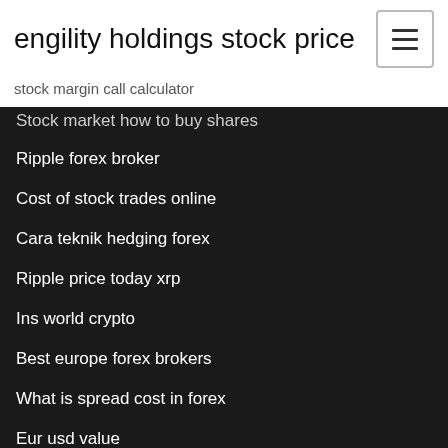engility holdings stock price
stock margin call calculator
Stock market how to buy shares
Ripple forex broker
Cost of stock trades online
Cara teknik hedging forex
Ripple price today xrp
Ins world crypto
Best europe forex brokers
What is spread cost in forex
Eur usd value
How long does it take to transfer bitcoin to binance
Best forex indicator to enter the market